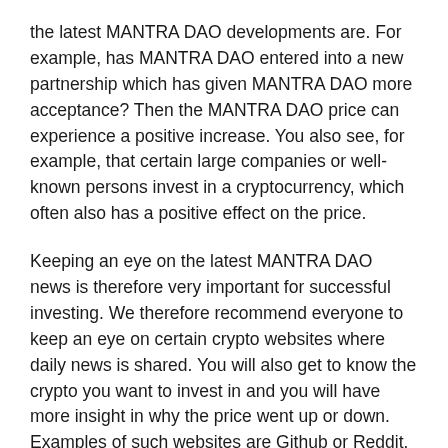the latest MANTRA DAO developments are. For example, has MANTRA DAO entered into a new partnership which has given MANTRA DAO more acceptance? Then the MANTRA DAO price can experience a positive increase. You also see, for example, that certain large companies or well-known persons invest in a cryptocurrency, which often also has a positive effect on the price.
Keeping an eye on the latest MANTRA DAO news is therefore very important for successful investing. We therefore recommend everyone to keep an eye on certain crypto websites where daily news is shared. You will also get to know the crypto you want to invest in and you will have more insight in why the price went up or down. Examples of such websites are Github or Reddit.
MANTRA DAO predictions for 2022, 2023and 2025